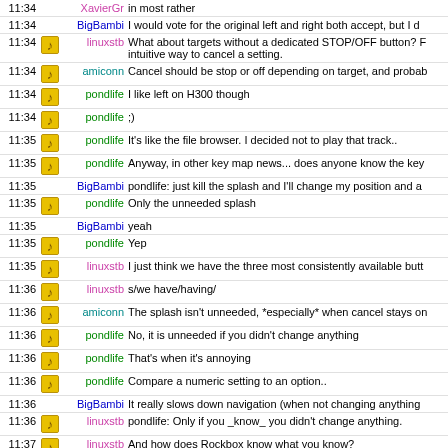| Time | Icon | Nick | Message |
| --- | --- | --- | --- |
| 11:34 |  | XavierGr | in most rather |
| 11:34 |  | BigBambi | I would vote for the original left and right both accept, but I d |
| 11:34 | icon | linuxstb | What about targets without a dedicated STOP/OFF button? F intuitive way to cancel a setting. |
| 11:34 | icon | amiconn | Cancel should be stop or off depending on target, and probab |
| 11:34 | icon | pondlife | I like left on H300 though |
| 11:34 | icon | pondlife | ;) |
| 11:35 | icon | pondlife | It's like the file browser. I decided not to play that track.. |
| 11:35 | icon | pondlife | Anyway, in other key map news... does anyone know the key |
| 11:35 |  | BigBambi | pondlife: just kill the splash and I'll change my position and a |
| 11:35 | icon | pondlife | Only the unneeded splash |
| 11:35 |  | BigBambi | yeah |
| 11:35 | icon | pondlife | Yep |
| 11:35 | icon | linuxstb | I just think we have the three most consistently available butt |
| 11:36 | icon | linuxstb | s/we have/having/ |
| 11:36 | icon | amiconn | The splash isn't unneeded, *especially* when cancel stays on |
| 11:36 | icon | pondlife | No, it is unneeded if you didn't change anything |
| 11:36 | icon | pondlife | That's when it's annoying |
| 11:36 | icon | pondlife | Compare a numeric setting to an option.. |
| 11:36 |  | BigBambi | It really slows down navigation (when not changing anything |
| 11:36 | icon | linuxstb | pondlife: Only if you _know_ you didn't change anything. |
| 11:37 | icon | linuxstb | And how does Rockbox know what you know? |
| 11:37 | icon | markun | amiconn: useful for what? |
| 11:37 |  | BigBambi | linuxstb: because you didn't go up or down the list? |